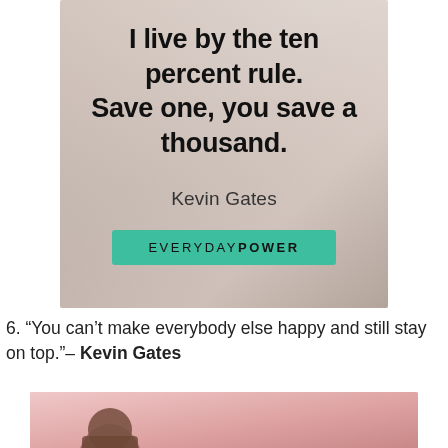[Figure (infographic): Quote card image with blurred calculator/tablet background in muted pink/beige tones. Bold black text quote: 'I live by the ten percent rule. Save one, you save a thousand.' Attribution: Kevin Gates. EverydayPower branded badge in teal.]
6. “You can’t make everybody else happy and still stay on top.”– Kevin Gates
[Figure (photo): Partial photo of Kevin Gates against a pink/rose background, cropped at bottom of page.]